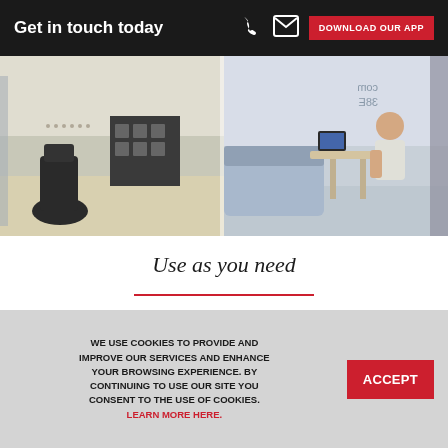Get in touch today | DOWNLOAD OUR APP
[Figure (photo): Office workspace photo showing desks and a person working at a booth]
Use as you need
{Rent a desk by the hour, by the day or by the month that you don't pay for more than you need
A cost-effective way to staff your business
WE USE COOKIES TO PROVIDE AND IMPROVE OUR SERVICES AND ENHANCE YOUR BROWSING EXPERIENCE. BY CONTINUING TO USE OUR SITE YOU CONSENT TO THE USE OF COOKIES. LEARN MORE HERE.